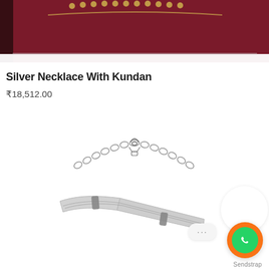[Figure (photo): Partial view of a silver necklace with kundan on a dark red/maroon textured fabric background, showing gold-colored bead details at the top]
Silver Necklace With Kundan
₹18,512.00
[Figure (photo): Close-up photo of a silver necklace clasp and chain links on white background, showing the adjustable chain and connector of the necklace]
...
Sendstrap